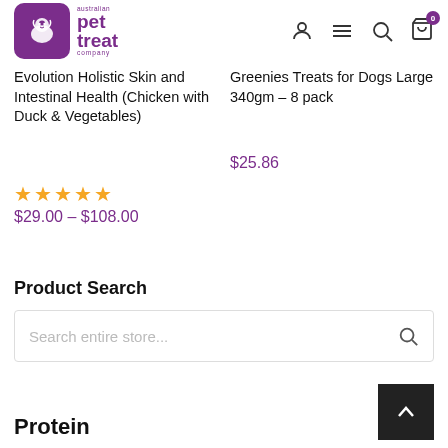[Figure (logo): Australian Pet Treat Company logo — purple rounded square with white dog silhouette, text 'australian pet treat company' in purple]
Evolution Holistic Skin and Intestinal Health (Chicken with Duck & Vegetables)
★★★★★
$29.00 – $108.00
Greenies Treats for Dogs Large 340gm – 8 pack
$25.86
Product Search
Search entire store...
Protein